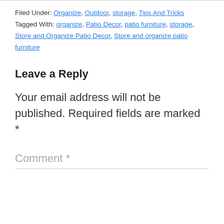Filed Under: Organize, Outdoor, storage, Tips And Tricks Tagged With: organize, Patio Decor, patio furniture, storage, Store and Organize Patio Decor, Store and organize patio furniture
Leave a Reply
Your email address will not be published. Required fields are marked *
Comment *